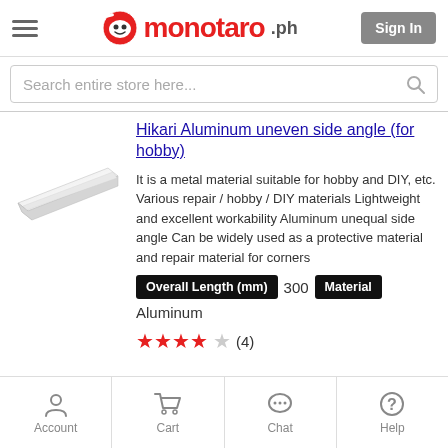monotaro.ph — Sign In
Search entire store here...
[Figure (photo): Aluminum uneven side angle bar, silver metallic L-shaped profile on white background]
Hikari Aluminum uneven side angle (for hobby)
It is a metal material suitable for hobby and DIY, etc. Various repair / hobby / DIY materials Lightweight and excellent workability Aluminum unequal side angle Can be widely used as a protective material and repair material for corners
Overall Length (mm)  300  Material
Aluminum
★★★★☆  (4)
Account  Cart  Chat  Help